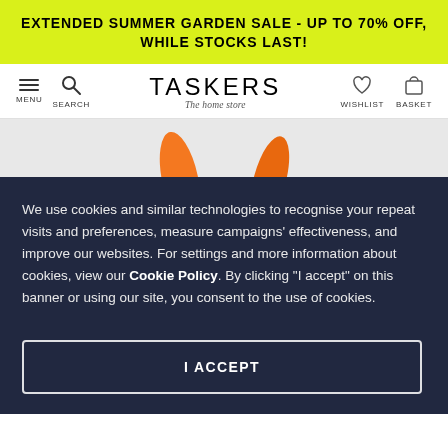EXTENDED SUMMER GARDEN SALE - UP TO 70% OFF, WHILE STOCKS LAST!
[Figure (screenshot): Taskers website navigation bar with menu, search, Taskers logo (The home store), wishlist and basket icons]
[Figure (photo): Partial image showing orange carrot tops against a grey background]
We use cookies and similar technologies to recognise your repeat visits and preferences, measure campaigns' effectiveness, and improve our websites. For settings and more information about cookies, view our Cookie Policy. By clicking "I accept" on this banner or using our site, you consent to the use of cookies.
I ACCEPT